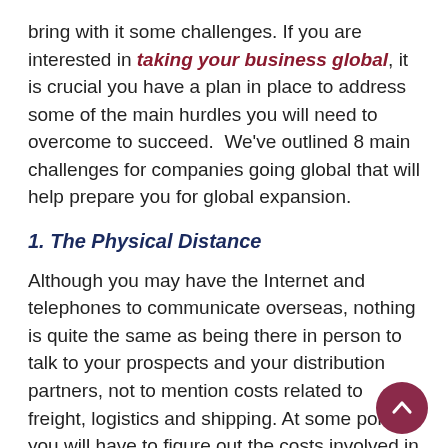bring with it some challenges. If you are interested in taking your business global, it is crucial you have a plan in place to address some of the main hurdles you will need to overcome to succeed.  We've outlined 8 main challenges for companies going global that will help prepare you for global expansion.
1. The Physical Distance
Although you may have the Internet and telephones to communicate overseas, nothing is quite the same as being there in person to talk to your prospects and your distribution partners, not to mention costs related to freight, logistics and shipping. At some point, you will have to figure out the costs involved in doing business "long distance" in the regions where you want to expand.
2. Unfamiliar Cultures